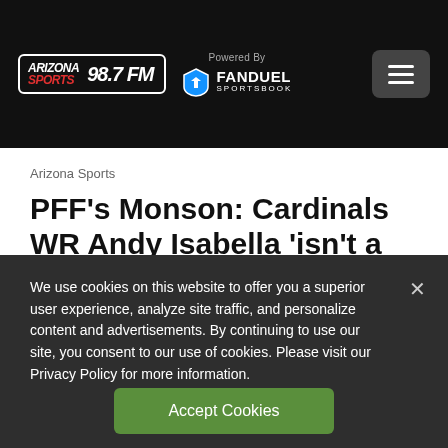Arizona Sports 98.7 FM — Powered By FanDuel Sportsbook
Arizona Sports
PFF's Monson: Cardinals WR Andy Isabella 'isn't a lost cause yet'
3 days ago
We use cookies on this website to offer you a superior user experience, analyze site traffic, and personalize content and advertisements. By continuing to use our site, you consent to our use of cookies. Please visit our Privacy Policy for more information.
Accept Cookies